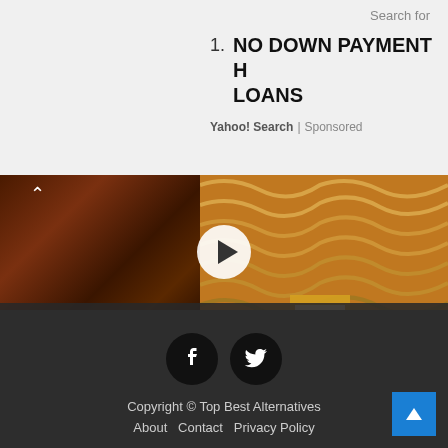Search for
1. NO DOWN PAYMENT LOANS
Yahoo! Search | Sponsored
[Figure (screenshot): Video thumbnail showing a wooden lamp with brick wall background, VENKO WOOD logo, and caption 'Beautiful veneer lamp'. Play button in center.]
Copyright © Top Best Alternatives   About   Contact   Privacy Policy